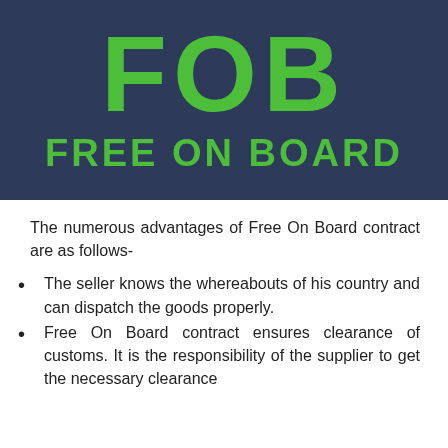[Figure (infographic): Dark navy blue banner with large green bold text 'FOB' and below it 'FREE ON BOARD' in green bold text]
The numerous advantages of Free On Board contract are as follows-
The seller knows the whereabouts of his country and can dispatch the goods properly.
Free On Board contract ensures clearance of customs. It is the responsibility of the supplier to get the necessary clearance